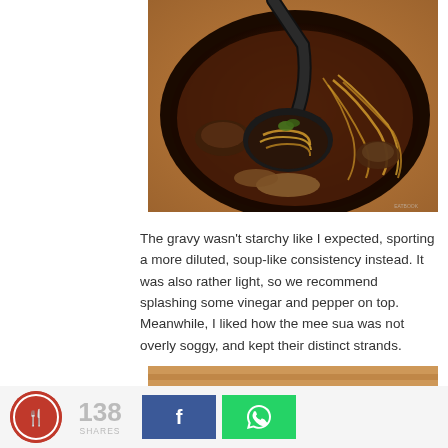[Figure (photo): Close-up photo of a bowl of mee sua (noodle soup) in a dark bowl, with a black ladle scooping up noodles garnished with herbs, surrounded by various toppings in a dark broth.]
The gravy wasn't starchy like I expected, sporting a more diluted, soup-like consistency instead. It was also rather light, so we recommend splashing some vinegar and pepper on top. Meanwhile, I liked how the mee sua was not overly soggy, and kept their distinct strands.
[Figure (photo): Partially visible food photo at bottom of page]
138 SHARES | Facebook share button | WhatsApp share button